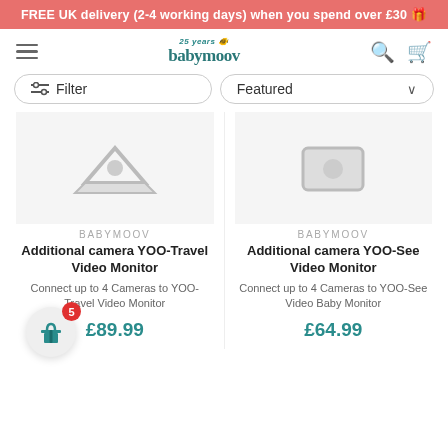FREE UK delivery (2-4 working days) when you spend over £30
[Figure (screenshot): Babymoov website navigation bar with hamburger menu, logo, search and cart icons]
Filter
Featured
BABYMOOV
Additional camera YOO-Travel Video Monitor
Connect up to 4 Cameras to YOO-Travel Video Monitor
£89.99
BABYMOOV
Additional camera YOO-See Video Monitor
Connect up to 4 Cameras to YOO-See Video Baby Monitor
£64.99